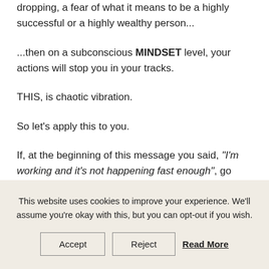dropping, a fear of what it means to be a highly successful or a highly wealthy person...
...then on a subconscious MINDSET level, your actions will stop you in your tracks.
THIS, is chaotic vibration.
So let’s apply this to you.
If, at the beginning of this message you said, “I’m working and it’s not happening fast enough”, go
This website uses cookies to improve your experience. We'll assume you're okay with this, but you can opt-out if you wish.